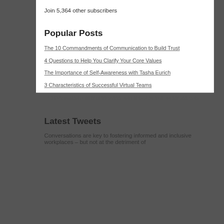Join 5,364 other subscribers
Popular Posts
The 10 Commandments of Communication to Build Trust
4 Questions to Help You Clarify Your Core Values
The Importance of Self-Awareness with Tasha Eurich
3 Characteristics of Successful Virtual Teams
Top five reasons why employees join and stay with organizations
Latest Tweets
Conversations are key to fostering informed and inclusive workplaces – but not at the detriment of